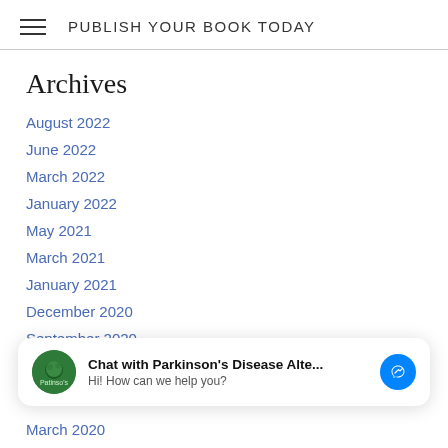PUBLISH YOUR BOOK TODAY
Archives
August 2022
June 2022
March 2022
January 2022
May 2021
March 2021
January 2021
December 2020
September 2020
August 2020
July 2020
[Figure (other): Chat widget with Parkinson's Disease Alte... avatar, text 'Chat with Parkinson’s Disease Alte...' and 'Hi! How can we help you?', and a Messenger icon button]
March 2020